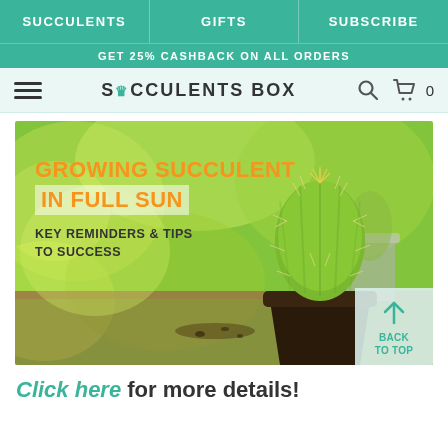SUCCULENTS | GIFTS | SUBSCRIBE
GET 25% CASHBACK ON ALL ORDERS
SUCCULENTS BOX
[Figure (photo): A cactus in a dark pot on a wooden table with blurred green plants in the background. Text overlay reads: GROWING SUCCULENT IN FULL SUN – KEY REMINDERS & TIPS TO SUCCESS. A 'BACK TO TOP' button appears in the lower right corner.]
Click here for more details!